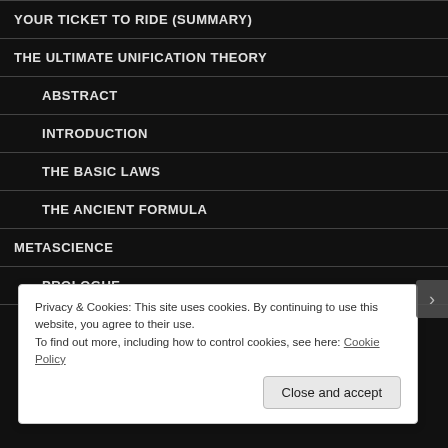YOUR TICKET TO RIDE (SUMMARY)
THE ULTIMATE UNIFICATION THEORY
ABSTRACT
INTRODUCTION
THE BASIC LAWS
THE ANCIENT FORMULA
METASCIENCE
PROLOGUE
SCIENCE AND ITS METHODOLOGY
Privacy & Cookies: This site uses cookies. By continuing to use this website, you agree to their use.
To find out more, including how to control cookies, see here: Cookie Policy
Close and accept